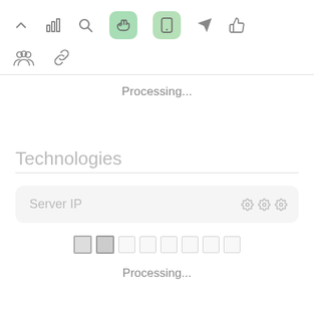[Figure (screenshot): Toolbar row 1 with icons: chevron up, bar chart, search, hand pointer (green highlighted), tablet/phone (green highlighted), rocket/send, thumbs up]
[Figure (screenshot): Toolbar row 2 with icons: group of people, chain link]
Processing...
Technologies
[Figure (screenshot): Server IP input field with three gear icons on the right, inside a light grey rounded rectangle]
[Figure (screenshot): Pagination row with 8 small squares, first two darker/active, rest lighter]
Processing...